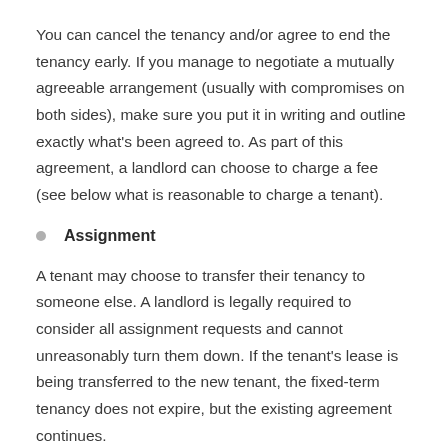You can cancel the tenancy and/or agree to end the tenancy early. If you manage to negotiate a mutually agreeable arrangement (usually with compromises on both sides), make sure you put it in writing and outline exactly what's been agreed to. As part of this agreement, a landlord can choose to charge a fee (see below what is reasonable to charge a tenant).
Assignment
A tenant may choose to transfer their tenancy to someone else. A landlord is legally required to consider all assignment requests and cannot unreasonably turn them down. If the tenant's lease is being transferred to the new tenant, the fixed-term tenancy does not expire, but the existing agreement continues.